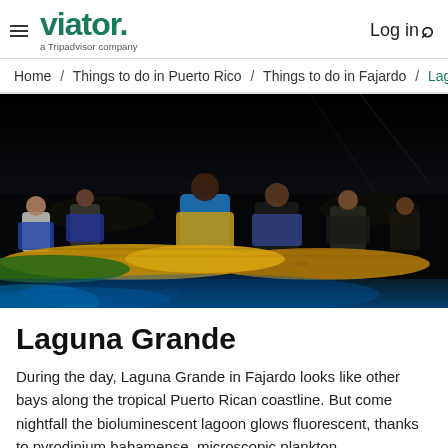viator. a Tripadvisor company | Log in [search]
Home / Things to do in Puerto Rico / Things to do in Fajardo / Laguna
[Figure (photo): Night-time photo of people in kayaks on a dark lagoon at Laguna Grande, Fajardo. People wearing life vests sit in yellow kayaks on very dark water. A faint bioluminescent blue glow is visible at the bottom of the frame.]
Laguna Grande
During the day, Laguna Grande in Fajardo looks like other bays along the tropical Puerto Rican coastline. But come nightfall the bioluminescent lagoon glows fluorescent, thanks to pyrodinium bahamense, microscopic plankton